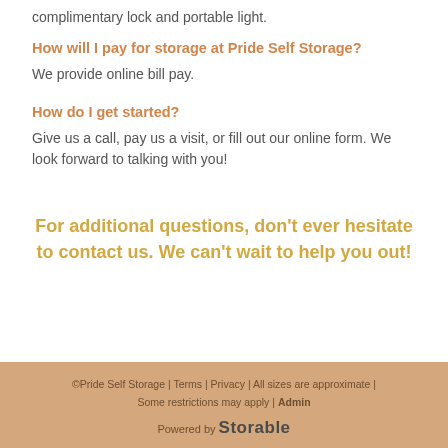complimentary lock and portable light.
How will I pay for storage at Pride Self Storage?
We provide online bill pay.
How do I get started?
Give us a call, pay us a visit, or fill out our online form. We look forward to talking with you!
For additional questions, don't ever hesitate to contact us. We can't wait to help you out!
©Pride Self Storage | Terms | Privacy | All sizes are approximate | Some restrictions may apply | Admin
Powered by Storable